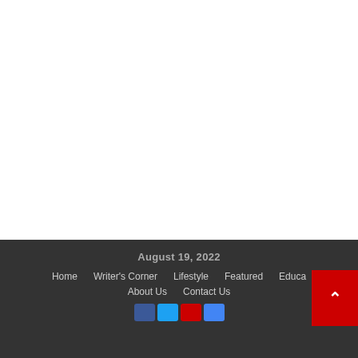August 19, 2022 | Home | Writer's Corner | Lifestyle | Featured | Educa... | About Us | Contact Us